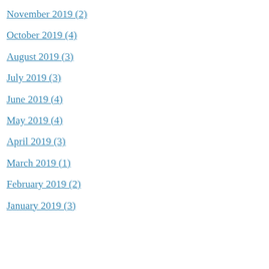November 2019 (2)
October 2019 (4)
August 2019 (3)
July 2019 (3)
June 2019 (4)
May 2019 (4)
April 2019 (3)
March 2019 (1)
February 2019 (2)
January 2019 (3)